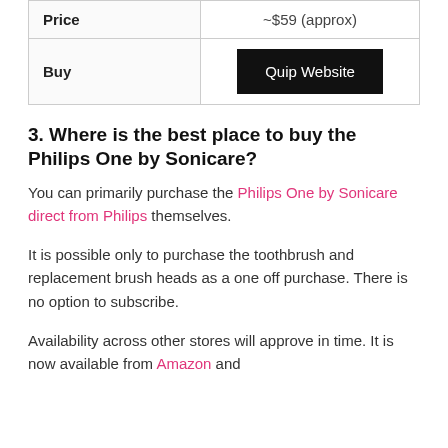| Price | ~$59 (approx) |
| Buy | Quip Website |
3. Where is the best place to buy the Philips One by Sonicare?
You can primarily purchase the Philips One by Sonicare direct from Philips themselves.
It is possible only to purchase the toothbrush and replacement brush heads as a one off purchase. There is no option to subscribe.
Availability across other stores will approve in time. It is now available from Amazon and